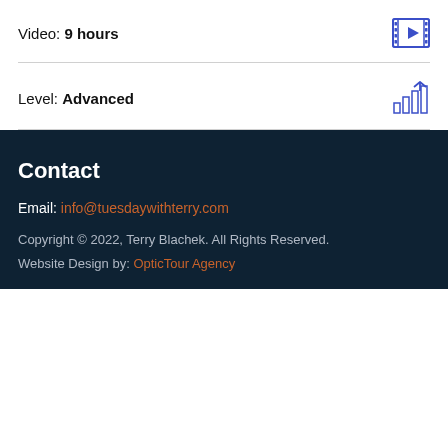Video: 9 hours
Level: Advanced
Contact
Email: info@tuesdaywithterry.com
Copyright © 2022, Terry Blachek. All Rights Reserved.
Website Design by: OpticTour Agency